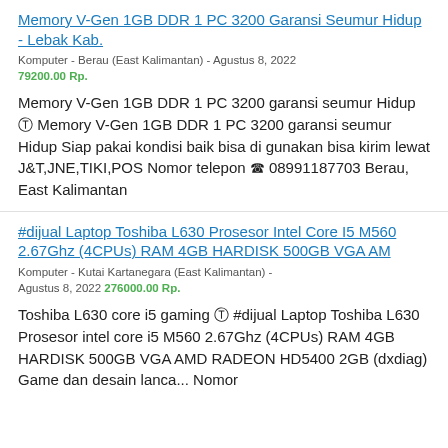Memory V-Gen 1GB DDR 1 PC 3200 Garansi Seumur Hidup - Lebak Kab.
Komputer - Berau (East Kalimantan) - Agustus 8, 2022 79200.00 Rp.
Memory V-Gen 1GB DDR 1 PC 3200 garansi seumur Hidup ✪ Memory V-Gen 1GB DDR 1 PC 3200 garansi seumur Hidup Siap pakai kondisi baik bisa di gunakan bisa kirim lewat J&T,JNE,TIKI,POS Nomor telepon ☎ 08991187703 Berau, East Kalimantan
#dijual Laptop Toshiba L630 Prosesor Intel Core I5 M560 2.67Ghz (4CPUs) RAM 4GB HARDISK 500GB VGA AM
Komputer - Kutai Kartanegara (East Kalimantan) - Agustus 8, 2022 276000.00 Rp.
Toshiba L630 core i5 gaming ✪ #dijual Laptop Toshiba L630 Prosesor intel core i5 M560 2.67Ghz (4CPUs) RAM 4GB HARDISK 500GB VGA AMD RADEON HD5400 2GB (dxdiag) Game dan desain lanca... Nomor telepon ☎ 08xx...